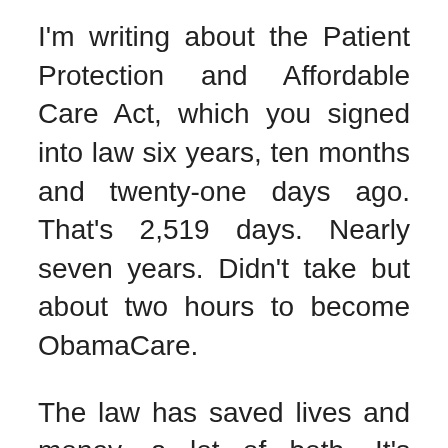I'm writing about the Patient Protection and Affordable Care Act, which you signed into law six years, ten months and twenty-one days ago. That's 2,519 days. Nearly seven years. Didn't take but about two hours to become ObamaCare.
The law has saved lives and money, a lot of both. It's allowed nearly 20 million people to become insured, most of them poor. Those people were able to get that insurance because the law helped them pay for it. The Medicare Hospital Insurance Trust